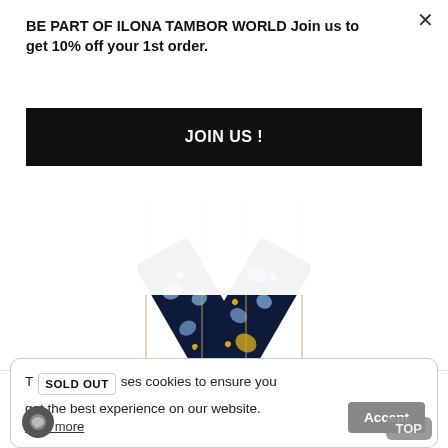BE PART OF ILONA TAMBOR WORLD Join us to get 10% off your 1st order.
JOIN US !
[Figure (photo): A navy blue silk ribbon scarf with floral pattern (light blue flowers and yellow dots) arranged in a V/tie shape against a white background.]
LESHY NAVY BLUE SILK RIBBON SCARF
£49.00
T SOLD OUT ses cookies to ensure you get the best experience on our website.
Learn more
Accept